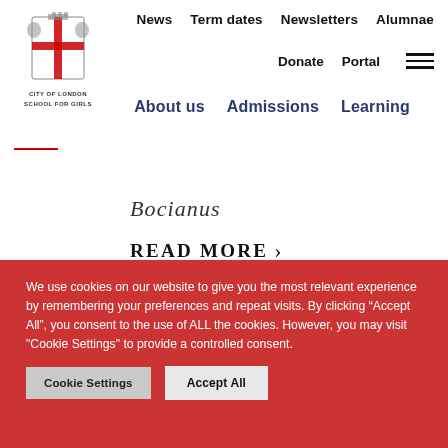[Figure (logo): City of London School for Girls crest logo with text]
News  Term dates  Newsletters  Alumnae  Donate  Portal  About us  Admissions  Learning
Bocianus
READ MORE >
We use cookies on our website to give you the most relevant experience by remembering your preferences and repeat visits. By clicking “Accept All”, you consent to the use of ALL the cookies. However, you may visit "Cookie Settings" to provide a controlled consent.